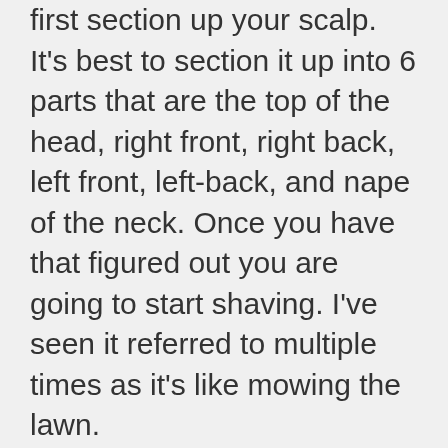With an electrical razor clippers, you should first section up your scalp. It's best to section it up into 6 parts that are the top of the head, right front, right back, left front, left-back, and nape of the neck. Once you have that figured out you are going to start shaving. I've seen it referred to multiple times as it's like mowing the lawn.
You want to keep your strokes going in the same direction and right by each other. You don't have to just go from top to bottom. You can do whatever you want to do really, but just remember to keep the strokes in the same direction and next to each other